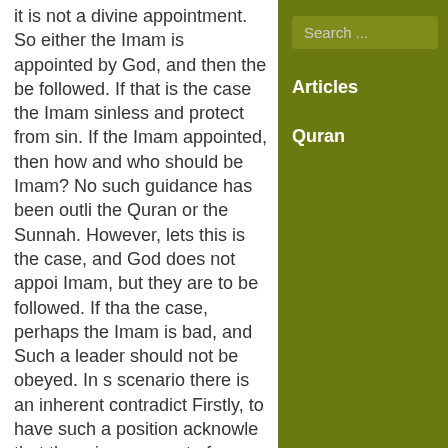it is not a divine appointment. So either the Imam is appointed by God, and then the be followed. If that is the case the Imam sinless and protect from sin. If the Imam appointed, then how and who should be Imam? No such guidance has been outlined in the Quran or the Sunnah. However, lets this is the case, and God does not appoint Imam, but they are to be followed. If that the case, perhaps the Imam is bad, and Such a leader should not be obeyed. In s scenario there is an inherent contradiction Firstly, to have such a position acknowledges that there is a concept of authority, the is who occupies the role. If the role exists God wants us to obey the person in the surely the person should be suitable for role?
Search ...
Articles
Quran